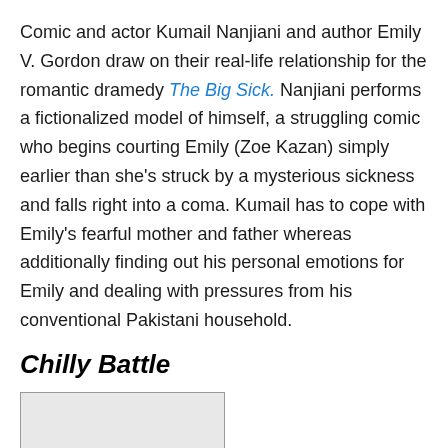Comic and actor Kumail Nanjiani and author Emily V. Gordon draw on their real-life relationship for the romantic dramedy The Big Sick. Nanjiani performs a fictionalized model of himself, a struggling comic who begins courting Emily (Zoe Kazan) simply earlier than she's struck by a mysterious sickness and falls right into a coma. Kumail has to cope with Emily's fearful mother and father whereas additionally finding out his personal emotions for Emily and dealing with pressures from his conventional Pakistani household.
Chilly Battle
[Figure (other): Video thumbnail placeholder box with 'Play Video' label]
Polish filmmaker Pawel Pawlikowski created this lush black-and-white romantic drama, partially impressed by his own and her parents' relationship. Cold War...